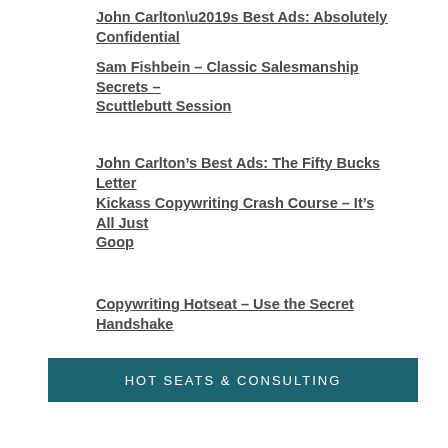John Carlton’s Best Ads: Absolutely Confidential
Sam Fishbein – Classic Salesmanship Secrets – Scuttlebutt Session
John Carlton’s Best Ads: The Fifty Bucks Letter
Kickass Copywriting Crash Course – It’s All Just Goop
Copywriting Hotseat – Use the Secret Handshake
HOT SEATS & CONSULTING
John Carlton and Stan Dahl take on a limited number of clients for private consulting every month. Click here to find out if we have a consulting package that matches your schedule and budget.
The next Platinum MasterMind Group meeting is just around the corner. Click here to learn more